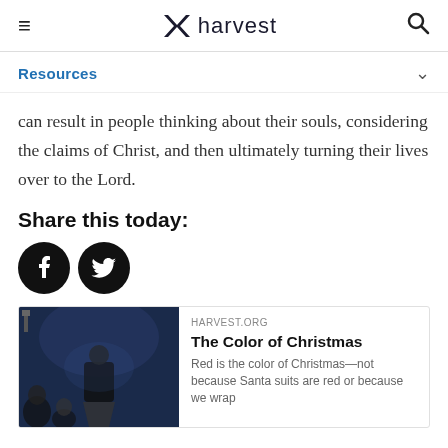≡  ✕ harvest  🔍
Resources
can result in people thinking about their souls, considering the claims of Christ, and then ultimately turning their lives over to the Lord.
Share this today:
[Figure (illustration): Facebook and Twitter social media share buttons as circular black icons]
[Figure (photo): Card with image of speaker at podium with audience, linked to harvest.org article 'The Color of Christmas']
HARVEST.ORG
The Color of Christmas
Red is the color of Christmas—not because Santa suits are red or because we wrap